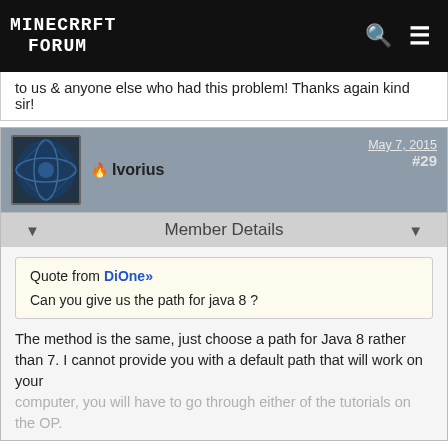Minecraft Forum
to us & anyone else who had this problem! Thanks again kind sir!
Ivorius  May 7, 2015  #29
Member Details
Quote from DiOne»
Can you give us the path for java 8 ?
The method is the same, just choose a path for Java 8 rather than 7. I cannot provide you with a default path that will work on your computer, you will have to go through either of the tutorials on the OP.